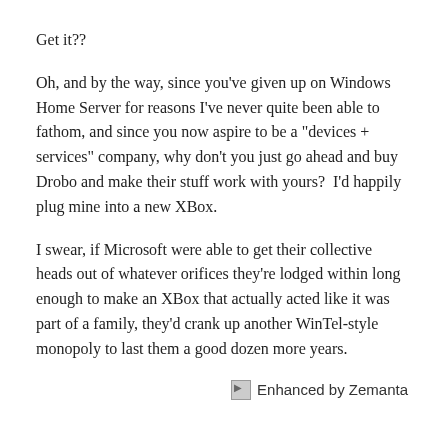Get it??
Oh, and by the way, since you've given up on Windows Home Server for reasons I've never quite been able to fathom, and since you now aspire to be a "devices + services" company, why don't you just go ahead and buy Drobo and make their stuff work with yours?  I'd happily plug mine into a new XBox.
I swear, if Microsoft were able to get their collective heads out of whatever orifices they're lodged within long enough to make an XBox that actually acted like it was part of a family, they'd crank up another WinTel-style monopoly to last them a good dozen more years.
[Figure (logo): Enhanced by Zemanta logo/badge with broken image icon and text]